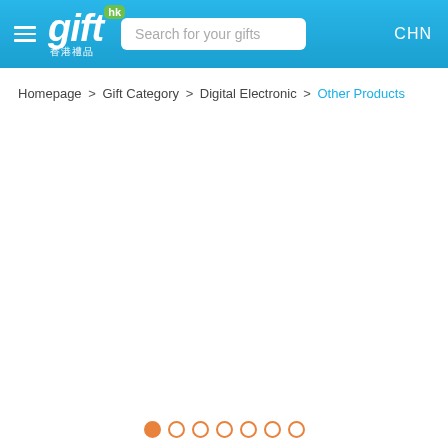gift hk — Search for your gifts — CHN
Homepage > Gift Category > Digital Electronic > Other Products